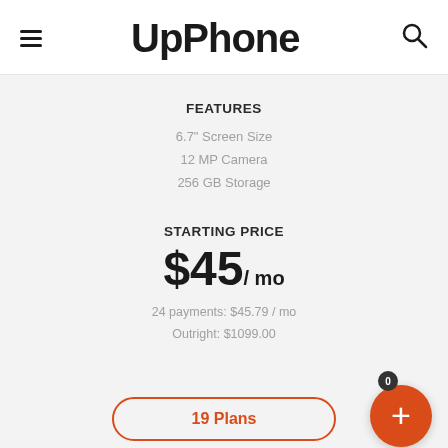UpPhone
FEATURES
6.7" Screen Size
12 MP Camera
256 GB Storage
STARTING PRICE
$45/ mo
24 payments: $45.79 / mo
Outright: $1099.00
19 Plans